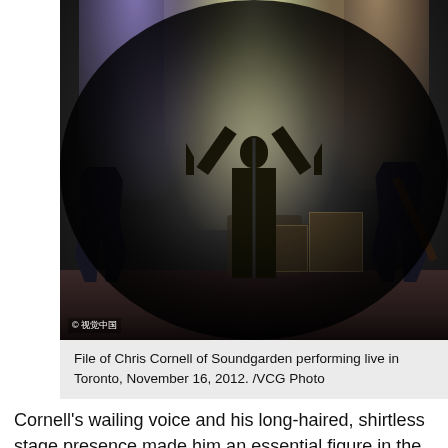[Figure (photo): Concert photo of Chris Cornell of Soundgarden performing live on stage in Toronto, November 16, 2012. The singer has his arms raised, photographed from a fisheye lens angle from the stage floor. Guitarists are visible on both sides. Stage lighting creates bright beams. Copyright watermark '© 视觉中国' visible in bottom left.]
File of Chris Cornell of Soundgarden performing live in Toronto, November 16, 2012. /VCG Photo
Cornell's wailing voice and his long-haired, shirtless stage presence made him an essential figure in the grunge-rock of the 1990s. Soundgarden was among the first groups to surge to national attention in a wave that later included Nirvana, Pearl Jam and Alice in Chains.